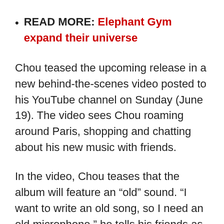READ MORE: Elephant Gym expand their universe
Chou teased the upcoming release in a new behind-the-scenes video posted to his YouTube channel on Sunday (June 19). The video sees Chou roaming around Paris, shopping and chatting about his new music with friends.
In the video, Chou teases that the album will feature an “old” sound. “I want to write an old song, so I need an old microphone,” he tells his friends as they walk on the street.